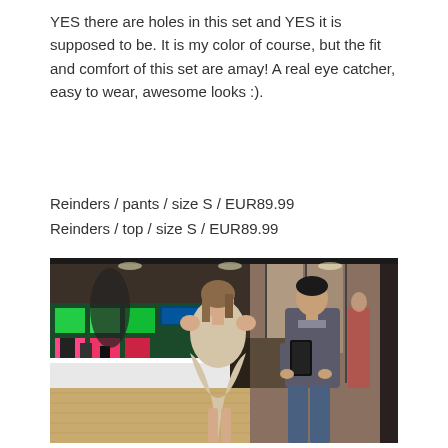YES there are holes in this set and YES it is supposed to be. It is my color of course, but the fit and comfort of this set are amay! A real eye catcher, easy to wear, awesome looks :).
Reinders / pants / size S / EUR89.99
Reinders / top / size S / EUR89.99
[Figure (photo): A woman in a cream/beige off-shoulder oversized top posing in front of a mirror in a retail store, with a man beside her taking the mirror selfie. Colorful store displays visible in the background.]